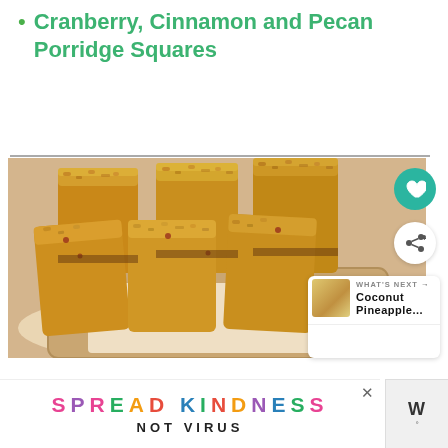Cranberry, Cinnamon and Pecan Porridge Squares
[Figure (photo): Porridge squares (flapjack-style oat bars) cut into rectangles, arranged on a wooden cutting board with parchment paper. Golden-brown oat texture visible on top.]
WHAT'S NEXT → Coconut Pineapple...
SPREAD KINDNESS NOT VIRUS